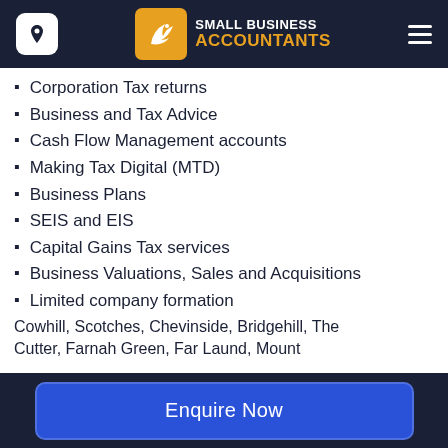[Figure (logo): Small Business Accountants logo with bird icon and orange/white text on dark navy header, with location pin button and hamburger menu]
Corporation Tax returns
Business and Tax Advice
Cash Flow Management accounts
Making Tax Digital (MTD)
Business Plans
SEIS and EIS
Capital Gains Tax services
Business Valuations, Sales and Acquisitions
Limited company formation
Cowhill, Scotches, Chevinside, Bridgehill, The Cutter, Farnah Green, Far Laund, Mount
Enquire Now